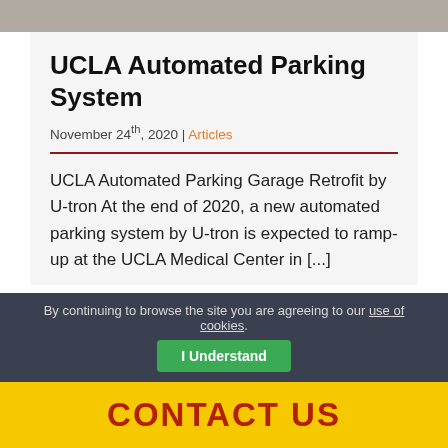[Figure (photo): Grayscale photo strip at the top of the page showing a parking structure interior]
UCLA Automated Parking System
November 24th, 2020 | Articles
UCLA Automated Parking Garage Retrofit by U-tron At the end of 2020, a new automated parking system by U-tron is expected to ramp-up at the UCLA Medical Center in [...]
By continuing to browse the site you are agreeing to our use of cookies. I Understand
CONTACT US